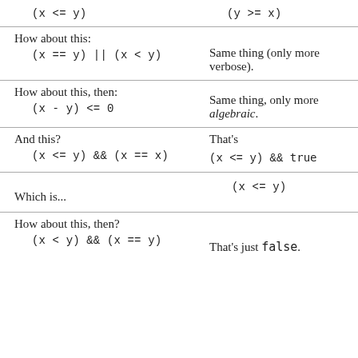(x <= y)
(y >= x)
How about this:
Same thing (only more verbose).
How about this, then:
Same thing, only more algebraic.
And this?
That's
Which is...
How about this, then?
That's just false.